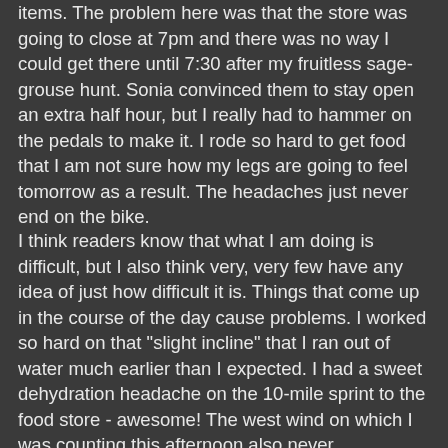items. The problem here was that the store was going to close at 7pm and there was no way I could get there until 7:30 after my fruitless sage-grouse hunt. Sonia convinced them to stay open an extra half hour, but I really had to hammer on the pedals to make it. I rode so hard to get food that I am not sure how my legs are going to feel tomorrow as a result. The headaches just never end on the bike.
I think readers know that what I am doing is difficult, but I also think very, very few have any idea of just how difficult it is. Things that come up in the course of the day cause problems. I worked so hard on that "slight incline" that I ran out of water much earlier than I expected. I had a sweet dehydration headache on the 10-mile sprint to the food store - awesome! The west wind on which I was counting this afternoon also never materialized - great! Dinner was pasta that Pat (more on her in a minute) cooked for me and the standby cold, canned peas - yum! Since I did not